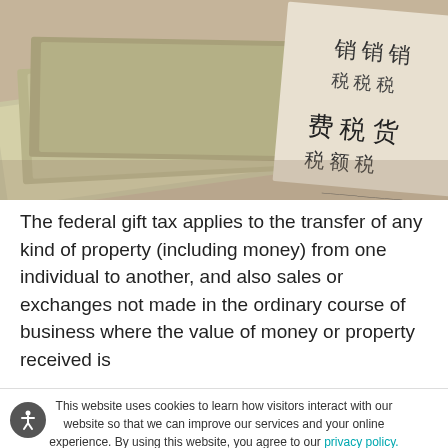[Figure (photo): Close-up photo of US dollar bills and a receipt or check with Japanese/Asian characters printed on it, in sepia/warm tones.]
The federal gift tax applies to the transfer of any kind of property (including money) from one individual to another, and also sales or exchanges not made in the ordinary course of business where the value of money or property received is
This website uses cookies to learn how visitors interact with our website so that we can improve our services and your online experience. By using this website, you agree to our privacy policy.